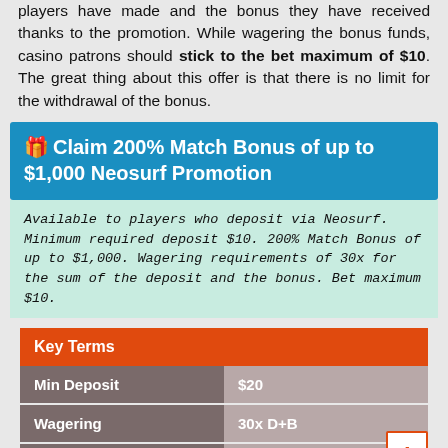players have made and the bonus they have received thanks to the promotion. While wagering the bonus funds, casino patrons should stick to the bet maximum of $10. The great thing about this offer is that there is no limit for the withdrawal of the bonus.
🎁 Claim 200% Match Bonus of up to $1,000 Neosurf Promotion
Available to players who deposit via Neosurf. Minimum required deposit $10. 200% Match Bonus of up to $1,000. Wagering requirements of 30x for the sum of the deposit and the bonus. Bet maximum $10.
| Key Terms |  |
| --- | --- |
| Min Deposit | $20 |
| Wagering | 30x D+B |
| Max Bet | $10 |